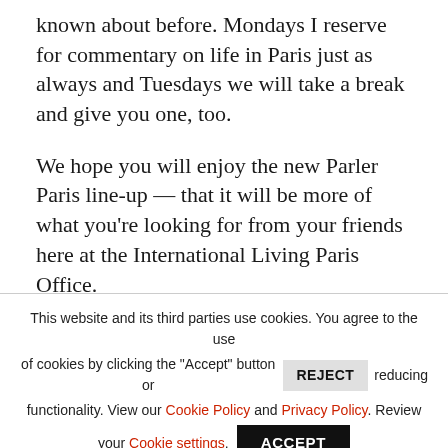known about before. Mondays I reserve for commentary on life in Paris just as always and Tuesdays we will take a break and give you one, too.
We hope you will enjoy the new Parler Paris line-up — that it will be more of what you're looking for from your friends here at the International Living Paris Office.
A la prochaine...
This website and its third parties use cookies. You agree to the use of cookies by clicking the "Accept" button or REJECT reducing functionality. View our Cookie Policy and Privacy Policy. Review your Cookie settings. ACCEPT